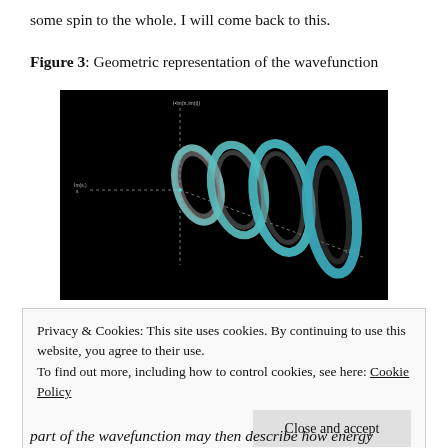some spin to the whole. I will come back to this.
Figure 3: Geometric representation of the wavefunction
[Figure (illustration): 3D geometric visualization of a wavefunction shown as a series of tilted rings or tori arranged along an axis on a black background, with dotted axis lines labeled with small text. The rings are rendered in teal/cyan and gray tones, creating a helical or spiral appearance.]
Privacy & Cookies: This site uses cookies. By continuing to use this website, you agree to their use.
To find out more, including how to control cookies, see here: Cookie Policy
part of the wavefunction may then describe how energy